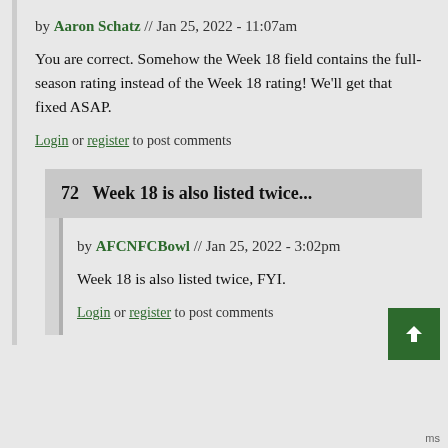by Aaron Schatz // Jan 25, 2022 - 11:07am
You are correct. Somehow the Week 18 field contains the full-season rating instead of the Week 18 rating! We'll get that fixed ASAP.
Login or register to post comments
72  Week 18 is also listed twice...
by AFCNFCBowl // Jan 25, 2022 - 3:02pm
Week 18 is also listed twice, FYI.
Login or register to post comments